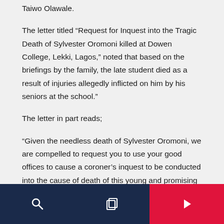Taiwo Olawale.
The letter titled “Request for Inquest into the Tragic Death of Sylvester Oromoni killed at Dowen College, Lekki, Lagos,” noted that based on the briefings by the family, the late student died as a result of injuries allegedly inflicted on him by his seniors at the school.”
The letter in part reads;
“Given the needless death of Sylvester Oromoni, we are compelled to request you to use your good offices to cause a coroner’s inquest to be conducted into the cause of death of this young and promising boy and make appropriate recommendations pursuant to Section 15 of the Lagos State Coroner’s Law 2007 that states that an inquest shall hold whenever a coroner is informed that the death of a deceased
search | copy | next